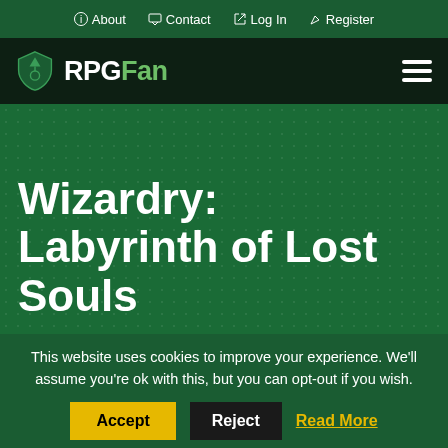About  Contact  Log In  Register
RPGFan
[Figure (logo): RPGFan shield logo — dark green shield with fantasy creature emblem]
Wizardry: Labyrinth of Lost Souls
This website uses cookies to improve your experience. We'll assume you're ok with this, but you can opt-out if you wish.
Accept  Reject  Read More